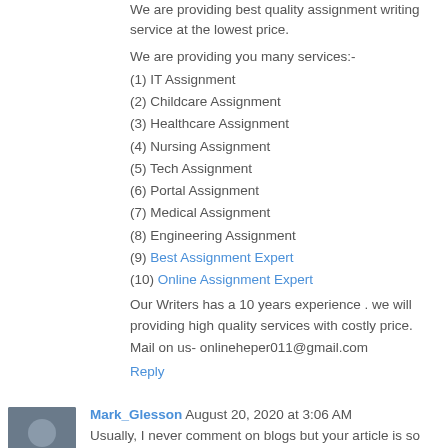We are providing best quality assignment writing service at the lowest price.
We are providing you many services:-
(1) IT Assignment
(2) Childcare Assignment
(3) Healthcare Assignment
(4) Nursing Assignment
(5) Tech Assignment
(6) Portal Assignment
(7) Medical Assignment
(8) Engineering Assignment
(9) Best Assignment Expert
(10) Online Assignment Expert
Our Writers has a 10 years experience . we will providing high quality services with costly price.
Mail on us- onlineheper011@gmail.com
Reply
Mark_Glesson August 20, 2020 at 3:06 AM
Usually, I never comment on blogs but your article is so convincing that I never stop myself to say something about